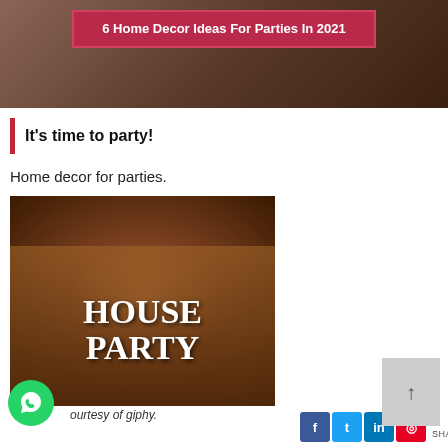[Figure (photo): Top banner image showing a party scene with text overlay on a dark red/crimson banner reading '6 Home Decor Ideas For Parties In 2021']
It's time to party!
Home decor for parties.
[Figure (photo): Image of a house party with crowd of people dancing; text overlay reads 'HOUSE PARTY' in large white serif font]
ourtesy of giphy.
0 SHARES